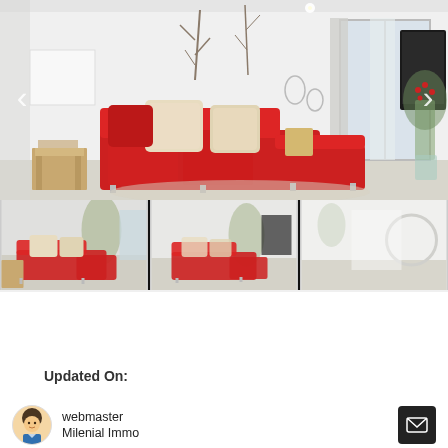[Figure (photo): Real estate listing photo gallery showing a modern minimalist living room with a red L-shaped sofa/sectional with beige cushions, white walls with decorative branches, a wooden side table, and a glass vase with red berries. Navigation arrows on left and right. Three thumbnail photos below the main image showing different angles of the same living room.]
Updated On:
webmaster
Milenial Immo